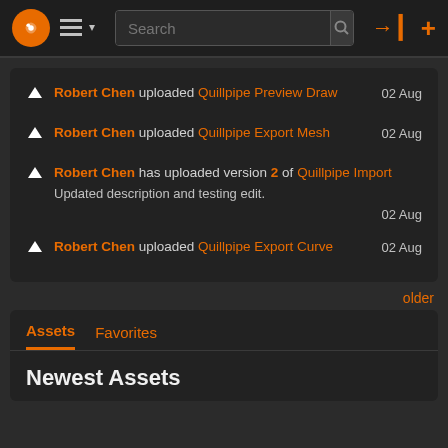Navigation bar with logo, hamburger menu, search bar, login and add icons
Robert Chen uploaded Quillpipe Preview Draw  02 Aug
Robert Chen uploaded Quillpipe Export Mesh  02 Aug
Robert Chen has uploaded version 2 of Quillpipe Import  Updated description and testing edit.  02 Aug
Robert Chen uploaded Quillpipe Export Curve  02 Aug
older
Assets  Favorites
Newest Assets